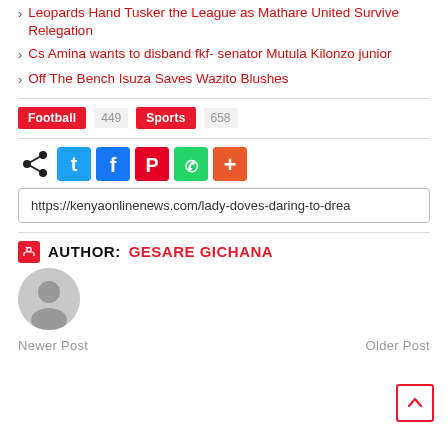Leopards Hand Tusker the League as Mathare United Survive Relegation
Cs Amina wants to disband fkf- senator Mutula Kilonzo junior
Off The Bench Isuza Saves Wazito Blushes
Football 449   Sports 658
[Figure (infographic): Social share icons row: share symbol, Twitter (blue), Facebook (dark blue), Pinterest (red), WhatsApp (green), More (orange-red plus sign)]
https://kenyaonlinenews.com/lady-doves-daring-to-drea
AUTHOR: GESARE GICHANA
[Figure (photo): Default user avatar circle, grey]
Newer Post    Older Post